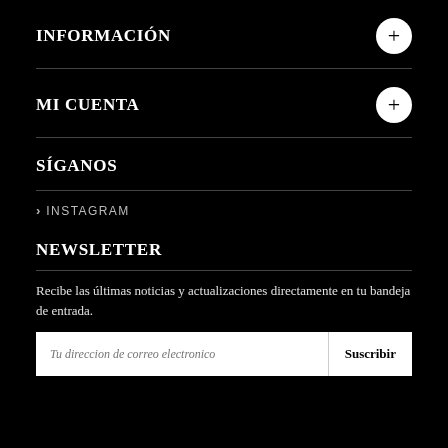INFORMACIÓN
MI CUENTA
SÍGANOS
> INSTAGRAM
NEWSLETTER
Recibe las últimas noticias y actualizaciones directamente en tu bandeja de entrada.
Tu direccion de correo electronico | Suscribir